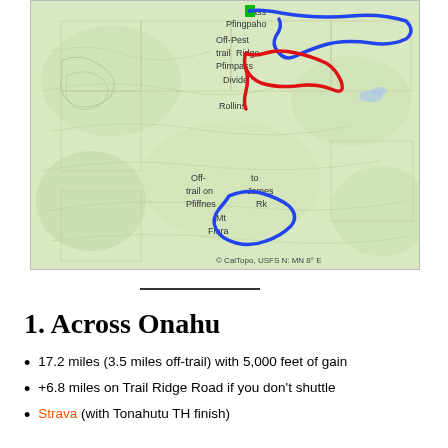[Figure (map): Topographic map showing trail routes near Rollins Pass area, Colorado. Blue routes shown in upper right and lower center (to James Pk and Mt Flora area). Red route shown in center (Rollins Pass Divide / Pfingst Pass area). Green marker at top center. Labels visible: Pass, Pfingpaho, Off-trail, Ridge, Pfimpass, Divide, Rollins, Off-trail on Pfiffnes, to James Rk, Mt Flora. Copyright: CalTopo, USFS, N: MN 8° E]
1. Across Onahu
17.2 miles (3.5 miles off-trail) with 5,000 feet of gain
+6.8 miles on Trail Ridge Road if you don't shuttle
Strava (with Tonahutu TH finish)